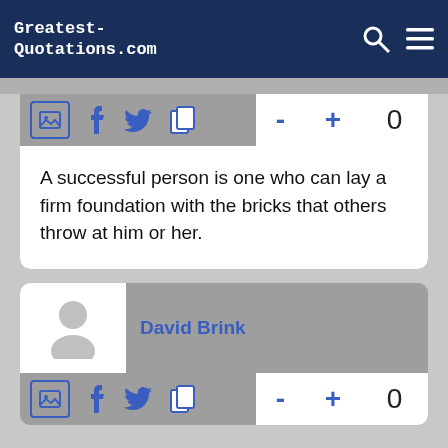Greatest-Quotations.com
A successful person is one who can lay a firm foundation with the bricks that others throw at him or her.
David Brink